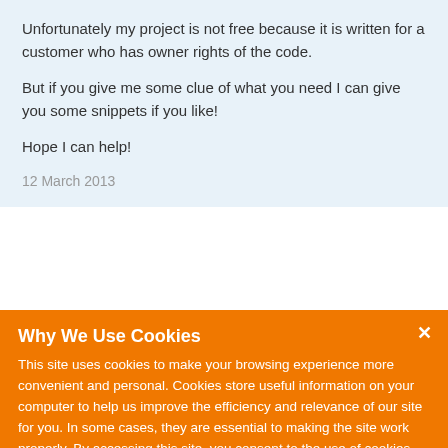Unfortunately my project is not free because it is written for a customer who has owner rights of the code.

But if you give me some clue of what you need I can give you some snippets if you like!

Hope I can help!
12 March 2013
Please login or register to post comments.
Why We Use Cookies
This site uses cookies to make your browsing experience more convenient and personal. Cookies store useful information on your computer to help us improve the efficiency and relevance of our site for you. In some cases, they are essential to making the site work properly. By accessing this site, you consent to the use of cookies. For more information, refer to DevExpress' privacy policy and cookie policy.
I UNDERSTAND